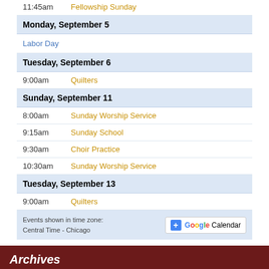| 11:45am | Fellowship Sunday |
| Monday, September 5 |  |
| Labor Day |  |
| Tuesday, September 6 |  |
| 9:00am | Quilters |
| Sunday, September 11 |  |
| 8:00am | Sunday Worship Service |
| 9:15am | Sunday School |
| 9:30am | Choir Practice |
| 10:30am | Sunday Worship Service |
| Tuesday, September 13 |  |
| 9:00am | Quilters |
Events shown in time zone: Central Time - Chicago
Archives
August 2022
July 2022
June 2022
May 2022